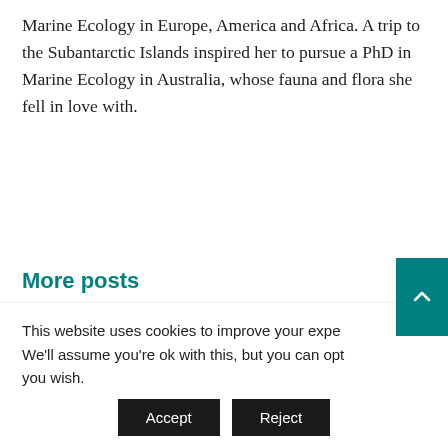Marine Ecology in Europe, America and Africa. A trip to the Subantarctic Islands inspired her to pursue a PhD in Marine Ecology in Australia, whose fauna and flora she fell in love with.
More posts
[Figure (photo): Close-up photo of a dark rocky or earthy surface with white speckled barnacles or lichen scattered across it.]
[Figure (photo): Portrait photo of a woman with dark hair wearing a teal/dark blue top, sitting indoors with shelves and items visible in the background.]
This website uses cookies to improve your expe We'll assume you're ok with this, but you can opt you wish.